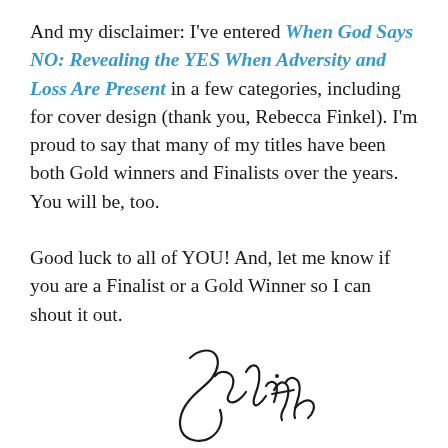And my disclaimer: I've entered When God Says NO: Revealing the YES When Adversity and Loss Are Present in a few categories, including for cover design (thank you, Rebecca Finkel). I'm proud to say that many of my titles have been both Gold winners and Finalists over the years. You will be, too.
Good luck to all of YOU! And, let me know if you are a Finalist or a Gold Winner so I can shout it out.
[Figure (illustration): A handwritten cursive signature, appearing to read 'Judith', in black ink on white background.]